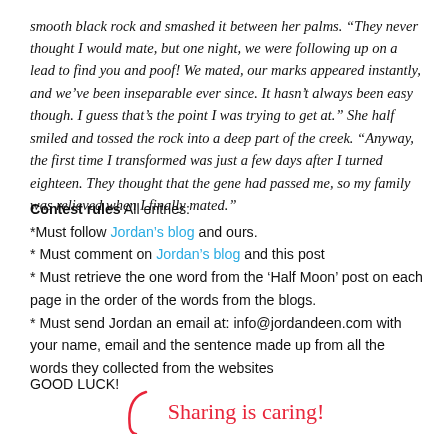smooth black rock and smashed it between her palms. “They never thought I would mate, but one night, we were following up on a lead to find you and poof! We mated, our marks appeared instantly, and we’ve been inseparable ever since. It hasn’t always been easy though. I guess that’s the point I was trying to get at.” She half smiled and tossed the rock into a deep part of the creek. “Anyway, the first time I transformed was just a few days after I turned eighteen. They thought that the gene had passed me, so my family was relieved when I finally mated.”
Contest rules All entries:
*Must follow Jordan’s blog and ours.
* Must comment on Jordan’s blog and this post
* Must retrieve the one word from the ‘Half Moon’ post on each page in the order of the words from the blogs.
* Must send Jordan an email at: info@jordandeen.com with your name, email and the sentence made up from all the words they collected from the websites
GOOD LUCK!
Sharing is caring!